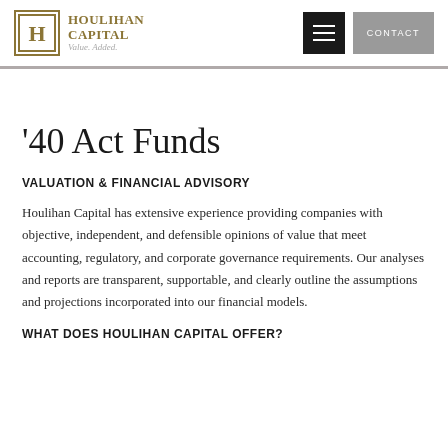Houlihan Capital — Value. Added. | CONTACT
'40 Act Funds
VALUATION & FINANCIAL ADVISORY
Houlihan Capital has extensive experience providing companies with objective, independent, and defensible opinions of value that meet accounting, regulatory, and corporate governance requirements. Our analyses and reports are transparent, supportable, and clearly outline the assumptions and projections incorporated into our financial models.
WHAT DOES HOULIHAN CAPITAL OFFER?